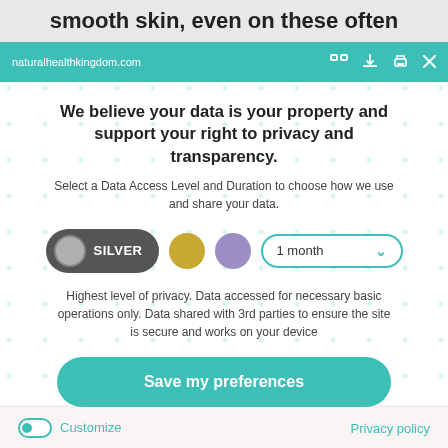smooth skin, even on these often
naturalhealthkingdom.com
We believe your data is your property and support your right to privacy and transparency.
Select a Data Access Level and Duration to choose how we use and share your data.
[Figure (other): Privacy consent controls: Silver button (selected), Gold circle, Purple circle, and 1 month dropdown selector]
Highest level of privacy. Data accessed for necessary basic operations only. Data shared with 3rd parties to ensure the site is secure and works on your device
Save my preferences
Customize
Privacy policy